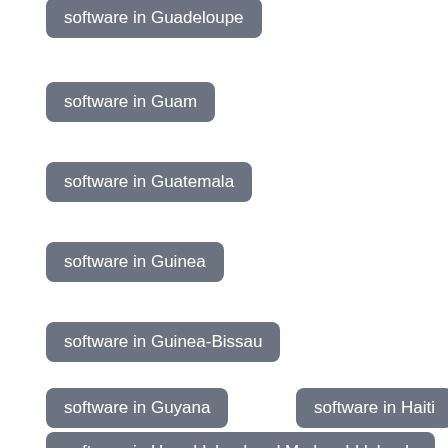software in Guadeloupe
software in Guam
software in Guatemala
software in Guinea
software in Guinea-Bissau
software in Guyana
software in Haiti
software in Heard Island and Mcdonald Islands